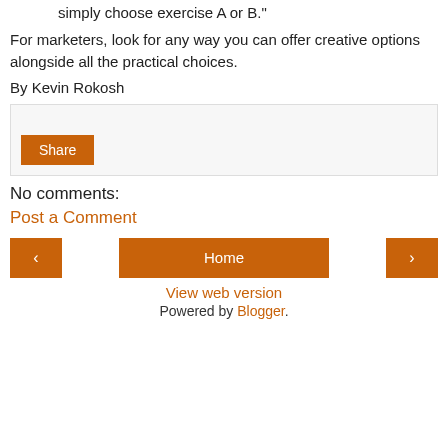simply choose exercise A or B."
For marketers, look for any way you can offer creative options alongside all the practical choices.
By Kevin Rokosh
[Figure (other): Share box with a Share button (orange background, white text)]
No comments:
Post a Comment
[Figure (other): Navigation row with left arrow button, Home button, and right arrow button (all orange)]
View web version
Powered by Blogger.